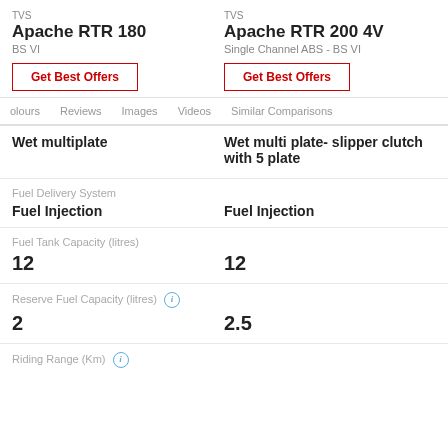TVS
Apache RTR 180
BS VI
TVS
Apache RTR 200 4V
Single Channel ABS - BS VI
Get Best Offers
Get Best Offers
olours  Reviews  Images  Videos  Similar Comparisons
Wet multiplate
Wet multi plate- slipper clutch with 5 plate
Fuel Delivery System
Fuel Injection
Fuel Injection
Fuel Tank Capacity (litres)
12
12
Reserve Fuel Capacity (litres)
2
2.5
Riding Range (Km)